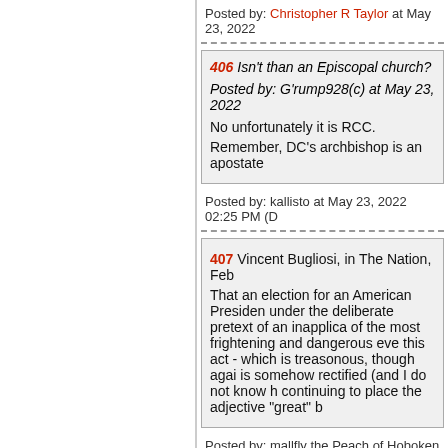Posted by: Christopher R Taylor at May 23, 2022
406 Isn't than an Episcopal church?
Posted by: G'rump928(c) at May 23, 2022
No unfortunately it is RCC.
Remember, DC's archbishop is an apostate
Posted by: kallisto at May 23, 2022 02:25 PM (D
407 Vincent Bugliosi, in The Nation, Feb
That an election for an American Presiden under the deliberate pretext of an inapplica of the most frightening and dangerous eve this act - which is treasonous, though agai is somehow rectified (and I do not know h continuing to place the adjective "great" b
Posted by: mallfly the Peach of Hoboken at May
408 >>> 399